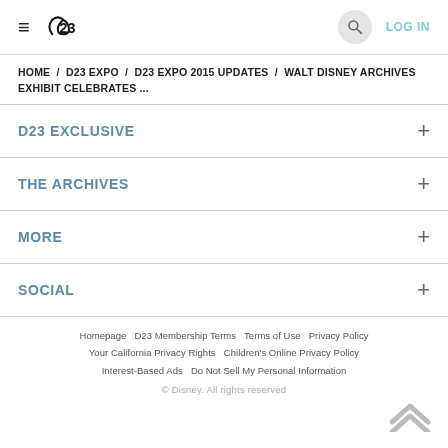D23 | LOG IN
HOME / D23 EXPO / D23 EXPO 2015 UPDATES / WALT DISNEY ARCHIVES EXHIBIT CELEBRATES ...
D23 EXCLUSIVE +
THE ARCHIVES +
MORE +
SOCIAL +
Homepage   D23 Membership Terms   Terms of Use   Privacy Policy   Your California Privacy Rights   Children's Online Privacy Policy   Interest-Based Ads   Do Not Sell My Personal Information   © Disney. All rights reserved